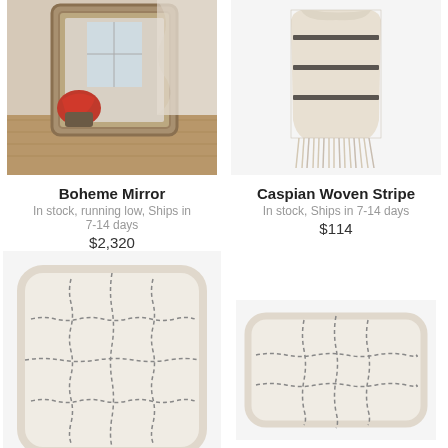[Figure (photo): Boheme Mirror product photo showing an ornate silver mirror with a red throw blanket on a chair in a bedroom setting with wooden floor]
Boheme Mirror
In stock, running low, Ships in 7-14 days
$2,320
[Figure (photo): Caspian Woven Stripe product photo showing a beige/cream woven throw blanket with dark stripes and fringe ends hanging on a white background]
Caspian Woven Stripe
In stock, Ships in 7-14 days
$114
[Figure (photo): Large square cream/white throw pillow with dark gray hand-stitched grid/windowpane pattern on white background]
[Figure (photo): Rectangular lumbar cream/white throw pillow with dark gray hand-stitched grid/windowpane pattern on white background]